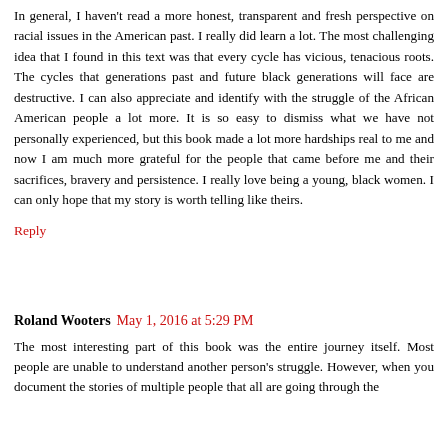In general, I haven't read a more honest, transparent and fresh perspective on racial issues in the American past. I really did learn a lot. The most challenging idea that I found in this text was that every cycle has vicious, tenacious roots. The cycles that generations past and future black generations will face are destructive. I can also appreciate and identify with the struggle of the African American people a lot more. It is so easy to dismiss what we have not personally experienced, but this book made a lot more hardships real to me and now I am much more grateful for the people that came before me and their sacrifices, bravery and persistence. I really love being a young, black women. I can only hope that my story is worth telling like theirs.
Reply
Roland Wooters  May 1, 2016 at 5:29 PM
The most interesting part of this book was the entire journey itself. Most people are unable to understand another person's struggle. However, when you document the stories of multiple people that all are going through the